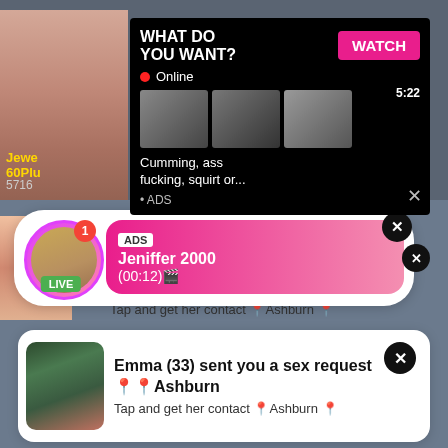[Figure (photo): Adult content advertisement with photo on left and black popup overlay showing 'WHAT DO YOU WANT?' with WATCH button, Online status, thumbnail images, and text 'Cumming, ass fucking, squirt or... ADS']
[Figure (photo): Live notification card with female avatar, LIVE badge, ADS label, name 'Jeniffer 2000', time '(00:12)' on pink gradient bubble, tap contact text for Ashburn]
[Figure (photo): Emma (33) notification card with female photo, bold text 'Emma (33) sent you a sex request Ashburn', subtext 'Tap and get her contact Ashburn']
Jewe 60Plu 5716
WHAT DO YOU WANT?
WATCH
Online
Cumming, ass fucking, squirt or...
• ADS
ADS
Jeniffer 2000
(00:12)🎬
Tap and get her contact 📍Ashburn 📍
Emma (33) sent you a sex request📍📍Ashburn
Tap and get her contact 📍Ashburn 📍
18 U.S.C 2257